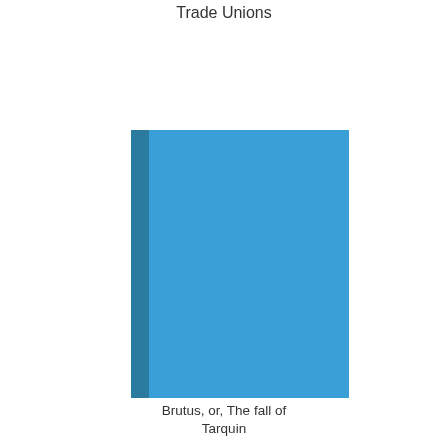[Figure (bar-chart): Trade Unions]
Brutus, or, The fall of Tarquin